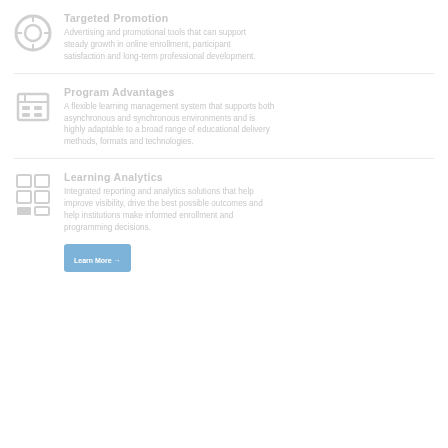Targeted Promotion
Advertising and promotional tools that can support steady growth in online enrollment, participant satisfaction and long-term professional development.
Program Advantages
A flexible learning management system that supports both asynchronous and synchronous environments and is highly adaptable to a broad range of educational delivery methods, formats and technologies.
Learning Analytics
Integrated reporting and analytics solutions that help improve visibility, drive the best possible outcomes and help institutions make informed enrollment and programming decisions.
[Figure (screenshot): Blue button or UI element screenshot]